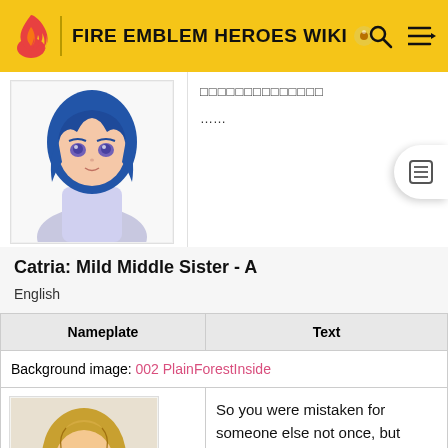FIRE EMBLEM HEROES WIKI
[Figure (screenshot): Character portrait with blue hair and purple eyes, cropped at top of card area]
□□□□□□□□□□□□□□

……
□□□□
Catria: Mild Middle Sister - A
English
| Nameplate | Text |
| --- | --- |
| Background image: 002 PlainForestInside |  |
| [Sharena portrait] | So you were mistaken for someone else not once, but twice? That's an odd coincidence, Catria. |